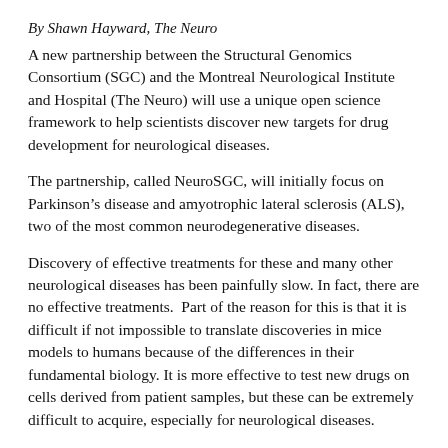By Shawn Hayward, The Neuro
A new partnership between the Structural Genomics Consortium (SGC) and the Montreal Neurological Institute and Hospital (The Neuro) will use a unique open science framework to help scientists discover new targets for drug development for neurological diseases.
The partnership, called NeuroSGC, will initially focus on Parkinson’s disease and amyotrophic lateral sclerosis (ALS), two of the most common neurodegenerative diseases.
Discovery of effective treatments for these and many other neurological diseases has been painfully slow. In fact, there are no effective treatments.  Part of the reason for this is that it is difficult if not impossible to translate discoveries in mice models to humans because of the differences in their fundamental biology. It is more effective to test new drugs on cells derived from patient samples, but these can be extremely difficult to acquire, especially for neurological diseases.
Because of its dual nature as a hospital and research institute, The Neuro has access to samples from ALS and Parkinson’s disease patients who believe that being part of the research discovery process is critically important. The Neuro’s Open Drug Discovery Platform, part of the Tanenbaum Open Science Institute (TOSI), develops human-induced pluripotent stem cells (hiPSCs) from these samples